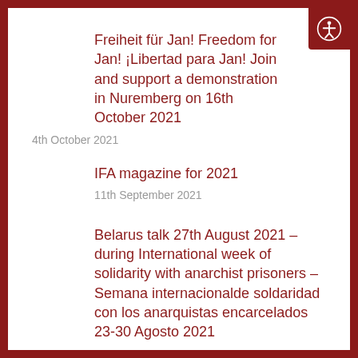Freiheit für Jan! Freedom for Jan! ¡Libertad para Jan! Join and support a demonstration in Nuremberg on 16th October 2021
4th October 2021
IFA magazine for 2021
11th September 2021
Belarus talk 27th August 2021 – during International week of solidarity with anarchist prisoners – Semana internacionalde soldaridad con los anarquistas encarcelados 23-30 Agosto 2021